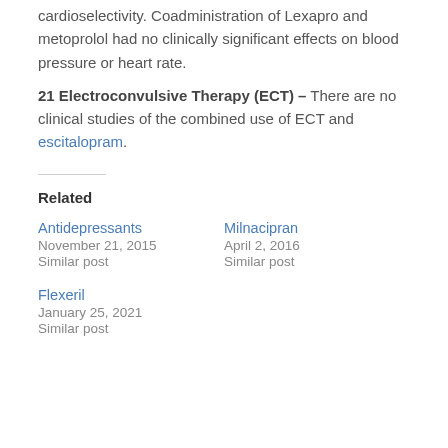cardioselectivity. Coadministration of Lexapro and metoprolol had no clinically significant effects on blood pressure or heart rate.
21 Electroconvulsive Therapy (ECT) – There are no clinical studies of the combined use of ECT and escitalopram.
Related
Antidepressants
November 21, 2015
Similar post
Milnacipran
April 2, 2016
Similar post
Flexeril
January 25, 2021
Similar post